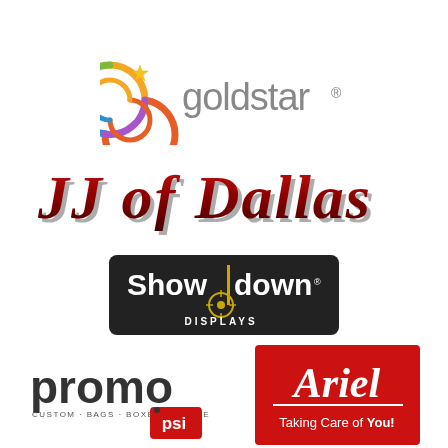[Figure (logo): Goldstar logo: colorful spiral/swirl icon with a gold star, followed by 'goldstar.' text in gray]
[Figure (logo): JJ of Dallas logo: stylized red 3D text 'JJ of Dallas' with dark red shadow effect]
[Figure (logo): Showdown Displays logo: white text on black rounded rectangle, 'Show|down DISPLAYS' with yellow crosshair target icon]
[Figure (logo): Promo PSI logo: 'promo' in large black text, 'CUSTOM BAGS BOXES TISSUE' subtitle, red shopping bag tag with 'psi']
[Figure (logo): Ariel logo: red square background with white italic 'Ariel' text and white underline, 'Taking Care of You!' below in white]